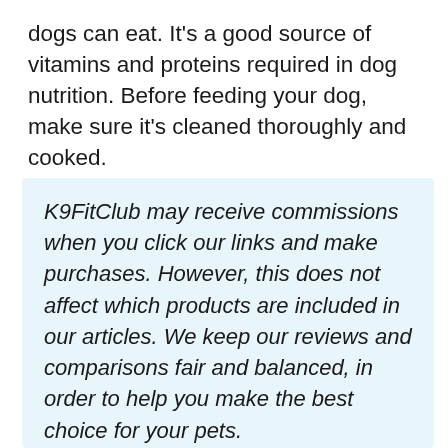dogs can eat. It's a good source of vitamins and proteins required in dog nutrition. Before feeding your dog, make sure it's cleaned thoroughly and cooked.
K9FitClub may receive commissions when you click our links and make purchases. However, this does not affect which products are included in our articles. We keep our reviews and comparisons fair and balanced, in order to help you make the best choice for your pets.